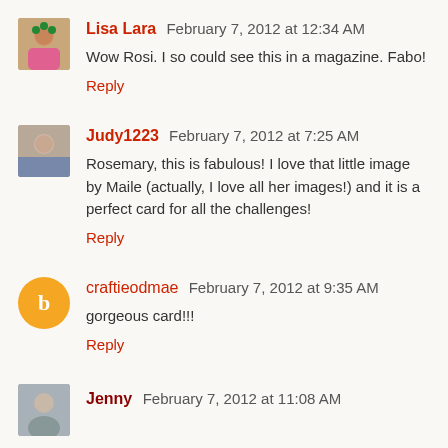Lisa Lara  February 7, 2012 at 12:34 AM
Wow Rosi. I so could see this in a magazine. Fabo!
Reply
Judy1223  February 7, 2012 at 7:25 AM
Rosemary, this is fabulous! I love that little image by Maile (actually, I love all her images!) and it is a perfect card for all the challenges!
Reply
craftieodmae  February 7, 2012 at 9:35 AM
gorgeous card!!!
Reply
Jenny  February 7, 2012 at 11:08 AM